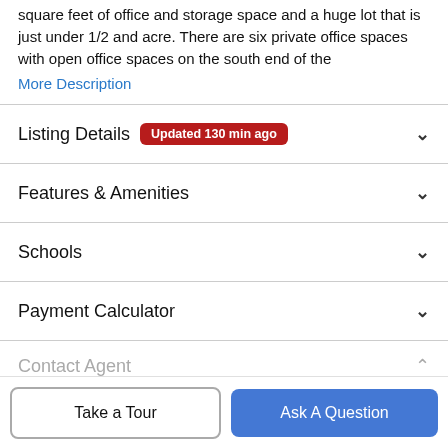square feet of office and storage space and a huge lot that is just under 1/2 and acre. There are six private office spaces with open office spaces on the south end of the
More Description
Listing Details Updated 130 min ago
Features & Amenities
Schools
Payment Calculator
Contact Agent
Take a Tour
Ask A Question